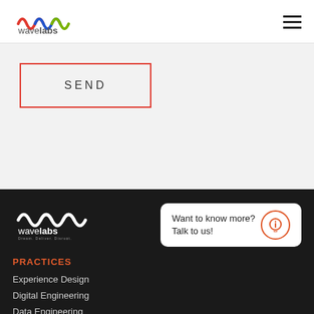[Figure (logo): Wavelabs logo with colorful wave mark and text 'wavelabs' and tagline 'Dream. Deliver. Disrupt.']
[Figure (other): Hamburger menu icon (three horizontal lines)]
SEND
[Figure (logo): Wavelabs footer logo with white wave mark, white text 'wavelabs' and tagline 'Dream. Deliver. Disrupt.']
Want to know more? Talk to us!
PRACTICES
Experience Design
Digital Engineering
Data Engineering